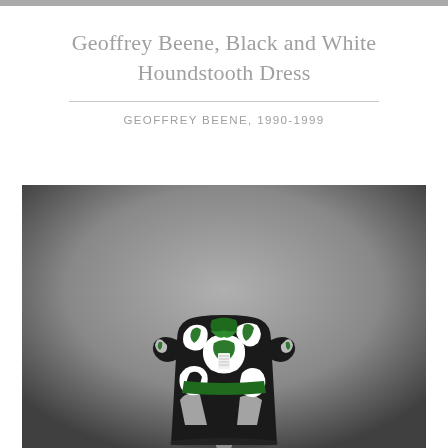Geoffrey Beene, Black and White Houndstooth Dress
GEOFFREY BEENE, 1990-1999
[Figure (photo): A dress displayed on a headless mannequin against a gray gradient background. The dress features a bold black and white graphic print with green accents, short sleeves, and a belted waist.]